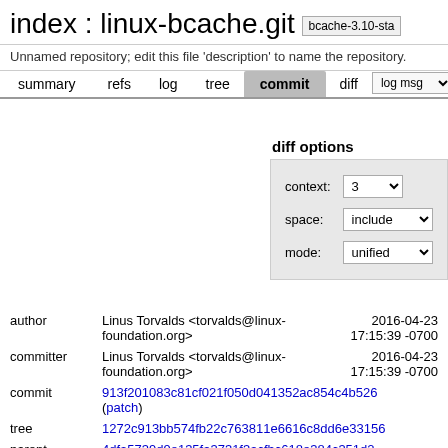index : linux-bcache.git bcache-3.10-sta
Unnamed repository; edit this file 'description' to name the repository.
summary refs log tree commit diff | log msg
diff options
| field | value |
| --- | --- |
| context: | 3 |
| space: | include |
| mode: | unified |
| field | value | date |
| --- | --- | --- |
| author | Linus Torvalds <torvalds@linux-foundation.org> | 2016-04-23 17:15:39 -0700 |
| committer | Linus Torvalds <torvalds@linux-foundation.org> | 2016-04-23 17:15:39 -0700 |
| commit | 913f201083c81cf021f050d041352ac854c4b526 (patch) |  |
| tree | 1272c913bb574fb22c763811e6616c8dd6e33156 |  |
| parent | 4dfa5739d9e135fa3731f3acfbc618e384c351d2 |  |